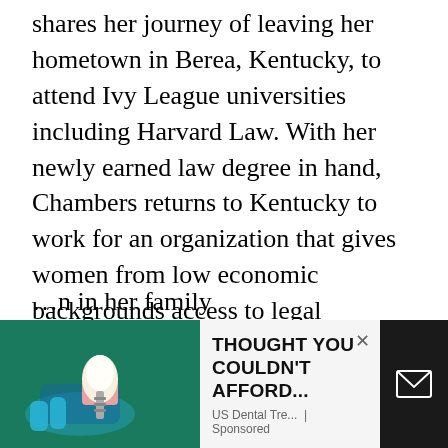shares her journey of leaving her hometown in Berea, Kentucky, to attend Ivy League universities including Harvard Law. With her newly earned law degree in hand, Chambers returns to Kentucky to work for an organization that gives women from low economic backgrounds access to legal representation. She uses her privilege to help women from her community because hardworking hill women like her clients, made her who she is today.
Throughout her memoir, Chambers takes moments to tell the stories of the other women in her family
[Figure (photo): Advertisement overlay showing dental implant image on left (teal background), ad text 'THOUGHT YOU COULDN'T AFFORD...' with 'US Dental Tre... | Sponsored' below, a close X button, and a dark email icon box on the right.]